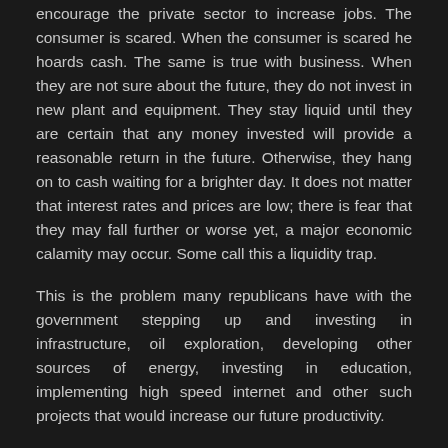encourage the private sector to increase jobs. The consumer is scared. When the consumer is scared he hoards cash. The same is true with business. When they are not sure about the future, they do not invest in new plant and equipment. They stay liquid until they are certain that any money invested will provide a reasonable return in the future. Otherwise, they hang on to cash waiting for a brighter day. It does not matter that interest rates and prices are low; there is fear that they may fall further or worse yet, a major economic calamity may occur. Some call this a liquidity trap.
This is the problem many republicans have with the government stepping up and investing in infrastructure, oil exploration, developing other sources of energy, investing in education, implementing high speed internet and other such projects that would increase our future productivity.
If you believe in our economic future, you know that the